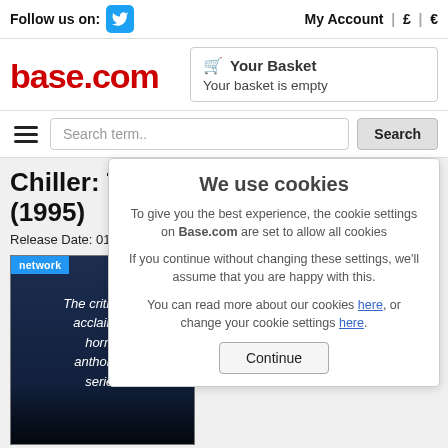Follow us on: [Twitter icon] | My Account | £ | €
[Figure (logo): base.com logo in red]
Your Basket
Your basket is empty
Search term..  Search
Chiller: The Co… (1995)
Release Date: 01 July 2013 | C…
[Figure (photo): Product image showing Chiller series DVD cover with network badge and text: The crititically acclaimed horror anthology series]
We use cookies
To give you the best experience, the cookie settings on Base.com are set to allow all cookies
If you continue without changing these settings, we'll assume that you are happy with this.
You can read more about our cookies here, or change your cookie settings here.
Continue